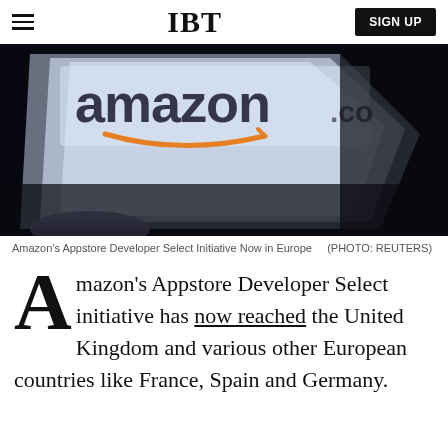IBT | SIGN UP
[Figure (photo): Close-up photo of an Amazon logo on a device screen, dark background with blue-white illuminated screen showing Amazon branding and smile logo]
Amazon's Appstore Developer Select Initiative Now in Europe   (PHOTO: REUTERS)
Amazon's Appstore Developer Select initiative has now reached the United Kingdom and various other European countries like France, Spain and Germany.